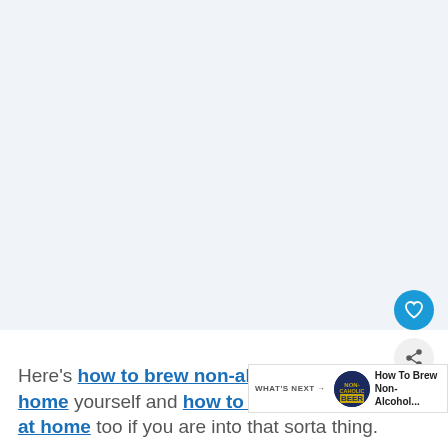[Figure (photo): Large mostly blank light blue-grey image area taking up the top portion of the page, representing a video or article image placeholder]
Here's how to brew non-alcoholic beer at home yourself and how to make hard cider at home too if you are into that sorta thing.